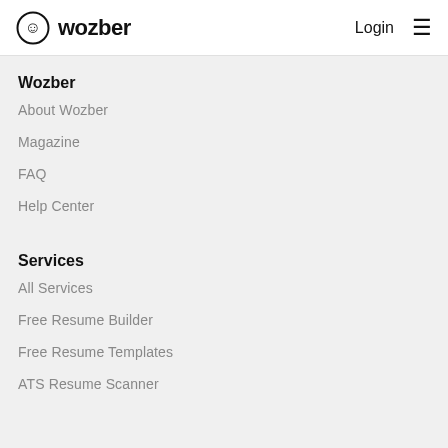wozber  Login ≡
Wozber
About Wozber
Magazine
FAQ
Help Center
Services
All Services
Free Resume Builder
Free Resume Templates
ATS Resume Scanner